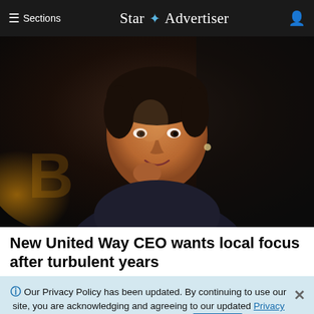≡ Sections  Star ✦ Advertiser  👤
[Figure (photo): Portrait of a woman in a dark top, posed thoughtfully with hand near chin, looking upward, against a dark background with warm bokeh lighting.]
New United Way CEO wants local focus after turbulent years
ℹ Our Privacy Policy has been updated. By continuing to use our site, you are acknowledging and agreeing to our updated Privacy Policy and our Terms of Service. I Agree